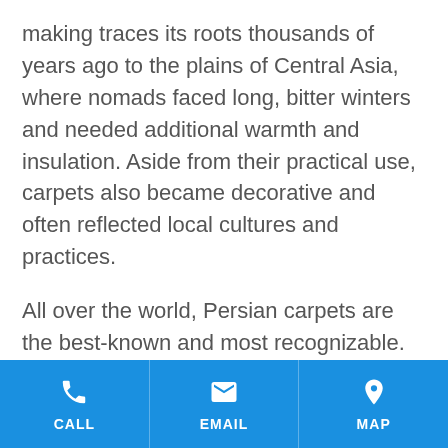making traces its roots thousands of years ago to the plains of Central Asia, where nomads faced long, bitter winters and needed additional warmth and insulation. Aside from their practical use, carpets also became decorative and often reflected local cultures and practices.
All over the world, Persian carpets are the best-known and most recognizable. Centered around modern-day Iran, the Persian carpet industry makes up more than 30% of the global market for carpets. About 5 million square meters of Persian carpets are produced every
CALL | EMAIL | MAP